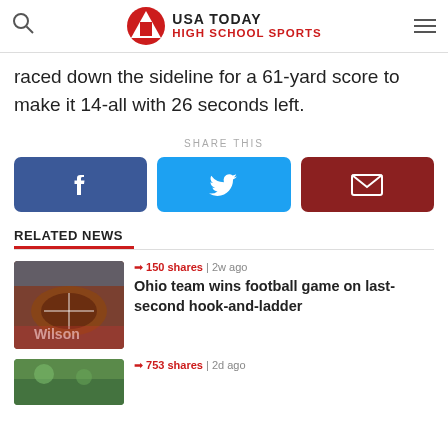USA TODAY HIGH SCHOOL SPORTS
raced down the sideline for a 61-yard score to make it 14-all with 26 seconds left.
SHARE THIS
[Figure (infographic): Share buttons: Facebook (blue), Twitter (light blue), Email (dark red)]
RELATED NEWS
[Figure (photo): Football close-up on field]
150 shares | 2w ago
Ohio team wins football game on last-second hook-and-ladder
[Figure (photo): Partial image at bottom]
753 shares | 2d ago